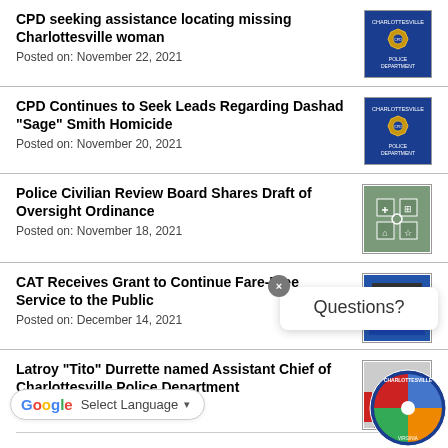CPD seeking assistance locating missing Charlottesville woman
Posted on: November 22, 2021
CPD Continues to Seek Leads Regarding Dashad "Sage" Smith Homicide
Posted on: November 20, 2021
Police Civilian Review Board Shares Draft of Oversight Ordinance
Posted on: November 18, 2021
CAT Receives Grant to Continue Fare-Free Service to the Public
Posted on: December 14, 2021
Latroy "Tito" Durrette named Assistant Chief of Charlottesville Police Department
Posted on: December 2021
[Figure (screenshot): Questions? chat popup overlay with close button]
[Figure (logo): Google Translate Select Language button]
[Figure (logo): Charlottesville city seal circle logo, bottom right]